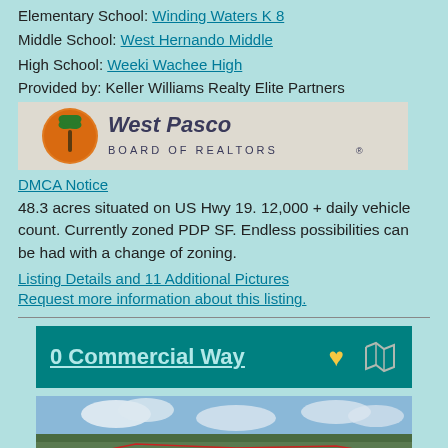Elementary School: Winding Waters K 8
Middle School: West Hernando Middle
High School: Weeki Wachee High
Provided by: Keller Williams Realty Elite Partners
[Figure (logo): West Pasco Board of Realtors logo with palm tree on orange circle background]
DMCA Notice
48.3 acres situated on US Hwy 19. 12,000 + daily vehicle count. Currently zoned PDP SF. Endless possibilities can be had with a change of zoning.
Listing Details and 11 Additional Pictures
Request more information about this listing.
0 Commercial Way
[Figure (photo): Aerial photograph of a large land parcel with red boundary lines overlaid, showing green landscape and cloudy sky]